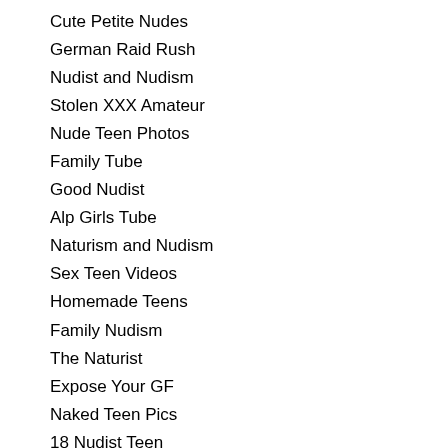Cute Petite Nudes
German Raid Rush
Nudist and Nudism
Stolen XXX Amateur
Nude Teen Photos
Family Tube
Good Nudist
Alp Girls Tube
Naturism and Nudism
Sex Teen Videos
Homemade Teens
Family Nudism
The Naturist
Expose Your GF
Naked Teen Pics
18 Nudist Teen
Uncensored Films
Barely Mature
Girlfriend Archive